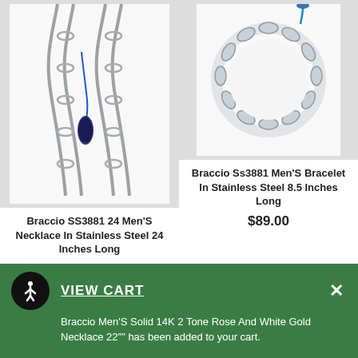[Figure (photo): Braccio SS3881 24 Men's Necklace in Stainless Steel chain with blue hang tag]
Braccio SS3881 24 Men'S Necklace In Stainless Steel 24 Inches Long
$224.00
[Figure (photo): Braccio Ss3881 Men's Bracelet in Stainless Steel circular chain bracelet]
Braccio Ss3881 Men'S Bracelet In Stainless Steel 8.5 Inches Long
$89.00
[Figure (photo): Bottom row of four thumbnail product images showing Braccio jewelry items]
VIEW CART
Braccio Men'S Solid 14K 2 Tone Rose And White Gold Necklace 22"" has been added to your cart.